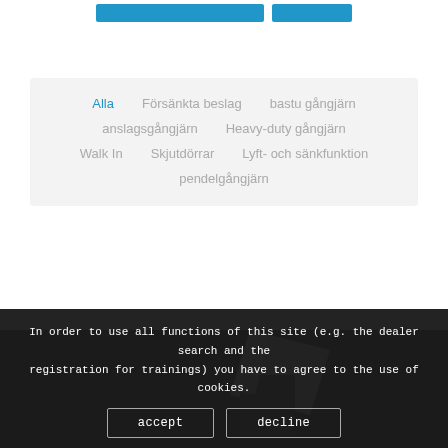[Figure (screenshot): Two blue button elements at the top of the page]
Alla
Försänkta beslag
bastu gångjärn
anslagsgångjärn
Heavy-duty gångjärn
Walk In
Skjutdörrar
Lyft- och sänkfunktion
pendelgångjärn
[Figure (photo): Dark background with a metallic hinge/hardware product visible at bottom]
In order to use all functions of this site (e.g. the dealer search and the registration for trainings) you have to agree to the use of cookies.
accept
decline